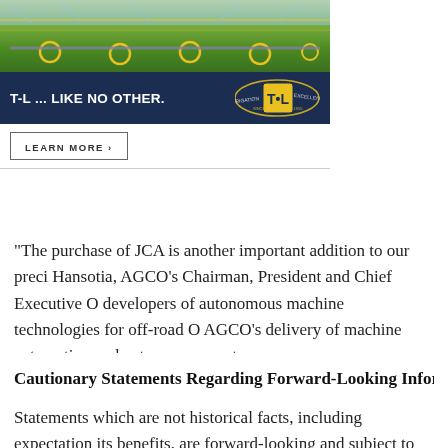[Figure (illustration): T-L Irrigation advertisement banner showing a green field with irrigation sprinklers, dark blue bar with text 'T-L ... LIKE NO OTHER.' and the T-L logo, and a Learn More button below.]
“The purchase of JCA is another important addition to our preci Hansotia, AGCO’s Chairman, President and Chief Executive O developers of autonomous machine technologies for off-road O AGCO’s delivery of machine automation and autonomous syste
Cautionary Statements Regarding Forward-Looking Inform
Statements which are not historical facts, including expectation its benefits, are forward-looking and subject to risks that could d those suggested by the statements. These risks include, but ar conditions, the possible lack of success in developing the techn